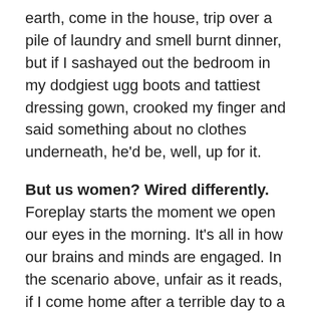earth, come in the house, trip over a pile of laundry and smell burnt dinner, but if I sashayed out the bedroom in my dodgiest ugg boots and tattiest dressing gown, crooked my finger and said something about no clothes underneath, he'd be, well, up for it.
But us women? Wired differently. Foreplay starts the moment we open our eyes in the morning. It's all in how our brains and minds are engaged. In the scenario above, unfair as it reads, if I come home after a terrible day to a great dinner, laundry packed away, with Big T freshly-shaved and smelling yummy? His odds of come hither, finger-crooking success are greatly increased. Terribly unfair. Blame that serpent. Prior to that I bet Adam and Eve were at it like... well...